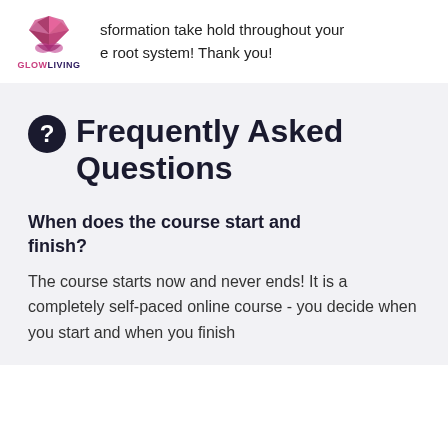sformation take hold throughout your e root system! Thank you!
❓ Frequently Asked Questions
When does the course start and finish?
The course starts now and never ends! It is a completely self-paced online course - you decide when you start and when you finish